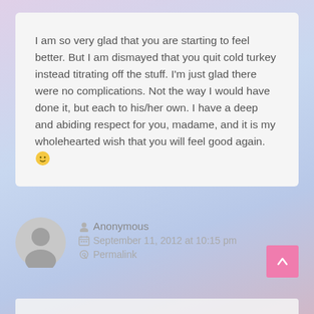I am so very glad that you are starting to feel better. But I am dismayed that you quit cold turkey instead titrating off the stuff. I'm just glad there were no complications. Not the way I would have done it, but each to his/her own. I have a deep and abiding respect for you, madame, and it is my wholehearted wish that you will feel good again. 🙂
Anonymous
September 11, 2012 at 10:15 pm
Permalink